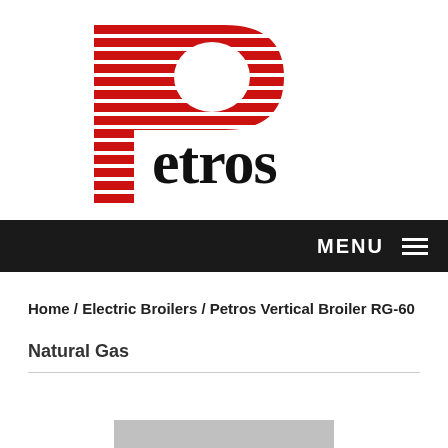[Figure (logo): Petros company logo — large red and white striped capital letter P with the word 'petros' in bold black serif text to the right of the P's base]
MENU ☰
Home / Electric Broilers / Petros Vertical Broiler RG-60
Natural Gas